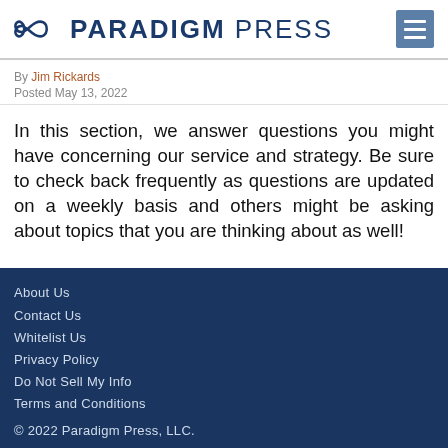PARADIGM PRESS
By Jim Rickards
Posted May 13, 2022
In this section, we answer questions you might have concerning our service and strategy. Be sure to check back frequently as questions are updated on a weekly basis and others might be asking about topics that you are thinking about as well!
About Us
Contact Us
Whitelist Us
Privacy Policy
Do Not Sell My Info
Terms and Conditions
© 2022 Paradigm Press, LLC.